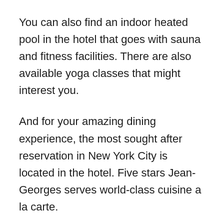You can also find an indoor heated pool in the hotel that goes with sauna and fitness facilities. There are also available yoga classes that might interest you.
And for your amazing dining experience, the most sought after reservation in New York City is located in the hotel. Five stars Jean-Georges serves world-class cuisine a la carte.
However, if you want more casual dining, you can head on to Nougatine. Have a chance to see the acclaimed Jean-Georges himself preparing your meal. How cool is that?